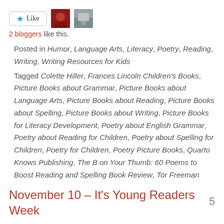[Figure (other): Like button with star icon and two blogger avatar thumbnails]
2 bloggers like this.
Posted in Humor, Language Arts, Literacy, Poetry, Reading, Writing, Writing Resources for Kids
Tagged Colette Hiller, Frances Lincoln Children's Books, Picture Books about Grammar, Picture Books about Language Arts, Picture Books about Reading, Picture Books about Spelling, Picture Books about Writing, Picture Books for Literacy Development, Poetry about English Grammar, Poetry about Reading for Children, Poetry about Spelling for Children, Poetry for Children, Poetry Picture Books, Quarto Knows Publishing, The B on Your Thumb: 60 Poems to Boost Reading and Spelling Book Review, Tor Freeman
November 10 – It's Young Readers Week